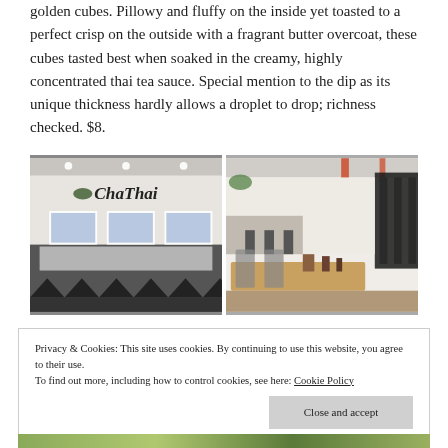golden cubes. Pillowy and fluffy on the inside yet toasted to a perfect crisp on the outside with a fragrant butter overcoat, these cubes tasted best when soaked in the creamy, highly concentrated thai tea sauce. Special mention to the dip as its unique thickness hardly allows a droplet to drop; richness checked. $8.
[Figure (photo): Two side-by-side restaurant interior photos of ChaThai. Left photo shows the restaurant counter/ordering area with the ChaThai logo on the wall, menu display screens, and black triangle decorative border. Right photo shows the dining area with wooden tables, metal chairs, and industrial-style ceiling.]
Privacy & Cookies: This site uses cookies. By continuing to use this website, you agree to their use. To find out more, including how to control cookies, see here: Cookie Policy
Close and accept